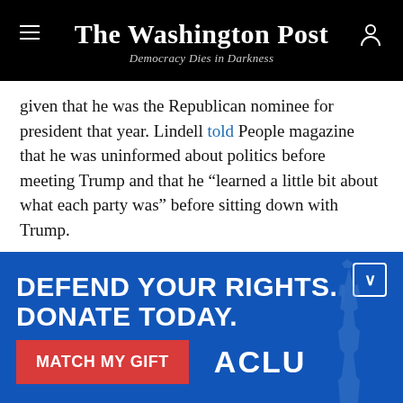The Washington Post — Democracy Dies in Darkness
given that he was the Republican nominee for president that year. Lindell told People magazine that he was uninformed about politics before meeting Trump and that he “learned a little bit about what each party was” before sitting down with Trump.
An underrecognized part of Trump’s campaign in 2016 was precisely this sort of glad-handing. Trump used his celebrity in an effort to woo skeptics, including in
[Figure (other): ACLU advertisement banner: 'DEFEND YOUR RIGHTS. DONATE TODAY.' with a red 'MATCH MY GIFT' button and ACLU logo, blue background with Statue of Liberty image]